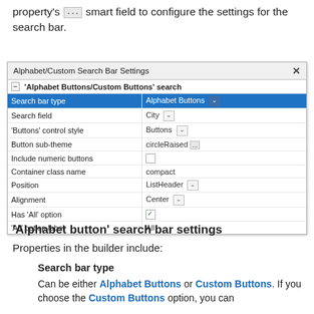property's ... smart field to configure the settings for the search bar.
[Figure (screenshot): Dialog box titled 'Alphabet/Custom Search Bar Settings' showing a property editor with rows: Search bar type (Alphabet Buttons), Search field (City), 'Buttons' control style (Buttons), Button sub-theme (circleRaised), Include numeric buttons (unchecked), Container class name (compact), Position (ListHeader), Alignment (Center), Has 'All' option (checked), 'All' option label (All).]
'Alphabet button' search bar settings
Properties in the builder include:
Search bar type
Can be either Alphabet Buttons or Custom Buttons. If you choose the Custom Buttons option, you can